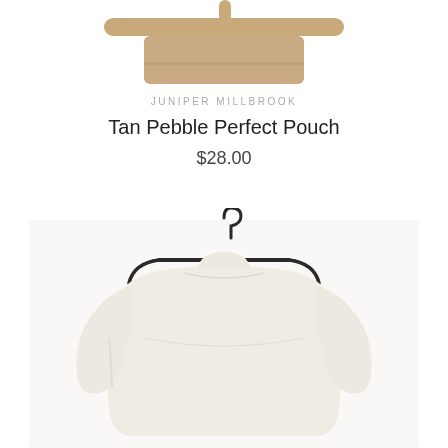[Figure (photo): Tan pebble pouch on a wooden/tan hanger, partially visible at top of page, cropped]
JUNIPER MILLBROOK
Tan Pebble Perfect Pouch
$28.00
[Figure (photo): Cream/off-white turtleneck sweater on a black metal hanger against white background]